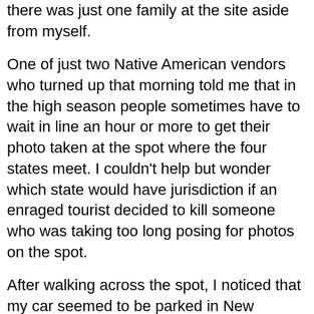there was just one family at the site aside from myself.
One of just two Native American vendors who turned up that morning told me that in the high season people sometimes have to wait in line an hour or more to get their photo taken at the spot where the four states meet. I couldn't help but wonder which state would have jurisdiction if an enraged tourist decided to kill someone who was taking too long posing for photos on the spot.
After walking across the spot, I noticed that my car seemed to be parked in New Mexico, which baffled me. I'd be driving in Colorado and hadn't passed any sign indicating that I'd crossed into New Mexico. I looked back at the spot and tried to rap my head around the fact that I could look in four directions and see four states. And for the first time in my life I was thoroughly confused about what state I was actually in.
“Excuse me,” I said to the Navajo woman operating the booth at the entrance to the site. “But are we in New Mexico right